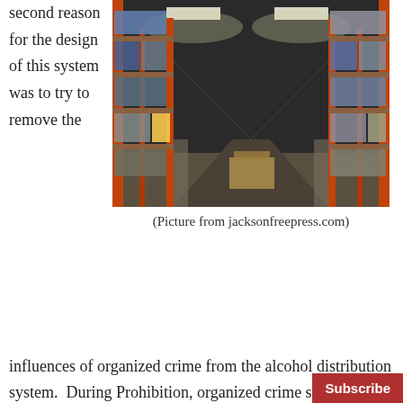second reason for the design of this system was to try to remove the
[Figure (photo): Interior of a warehouse showing tall industrial shelving racks stocked with boxes and pallets, viewed from a central aisle with overhead lighting.]
(Picture from jacksonfreepress.com)
influences of organized crime from the alcohol distribution system.  During Prohibition, organized crime stepped up to meet the needs of a thirsty public and to make huge profits from the illicit trade in beer, wine, and spirits.  The high profits and the nefarious characters that chased after it created a massive system of graft, violence, and murder that permeated ne…